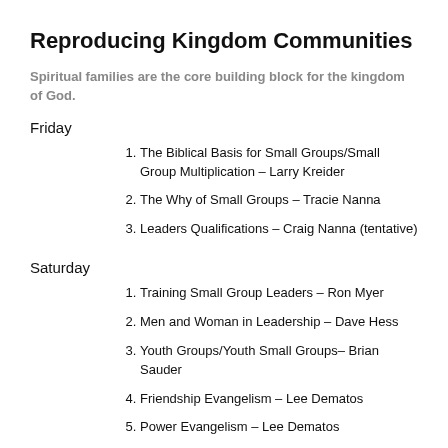Reproducing Kingdom Communities
Spiritual families are the core building block for the kingdom of God.
Friday
The Biblical Basis for Small Groups/Small Group Multiplication – Larry Kreider
The Why of Small Groups – Tracie Nanna
Leaders Qualifications – Craig Nanna (tentative)
Saturday
Training Small Group Leaders – Ron Myer
Men and Woman in Leadership – Dave Hess
Youth Groups/Youth Small Groups– Brian Sauder
Friendship Evangelism – Lee Dematos
Power Evangelism – Lee Dematos
Building Kingdom House Churches – Brian & Kim